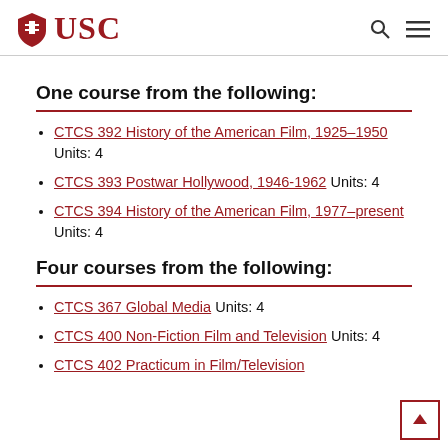USC
One course from the following:
CTCS 392 History of the American Film, 1925–1950 Units: 4
CTCS 393 Postwar Hollywood, 1946-1962 Units: 4
CTCS 394 History of the American Film, 1977–present Units: 4
Four courses from the following:
CTCS 367 Global Media Units: 4
CTCS 400 Non-Fiction Film and Television Units: 4
CTCS 402 Practicum in Film/Television